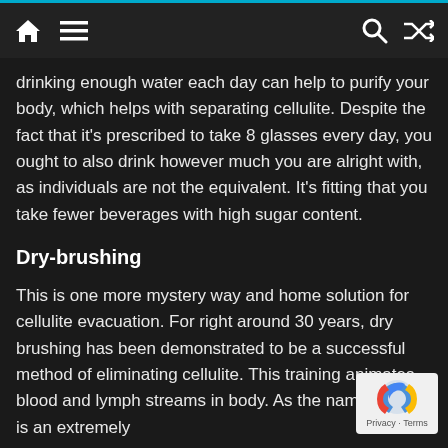Navigation bar with home, menu, search, and shuffle icons
drinking enough water each day can help to purify your body, which helps with separating cellulite. Despite the fact that it’s prescribed to take 8 glasses every day, you ought to also drink however much you are alright with, as individuals are not the equivalent. It’s fitting that you take fewer beverages with high sugar content.
Dry-brushing
This is one more mystery way and home solution for cellulite evacuation. For right around 30 years, dry brushing has been demonstrated to be a successful method of eliminating cellulite. This training animates blood and lymph streams in body. As the name goes, it is an extremely